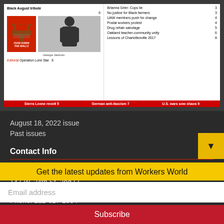[Figure (screenshot): Magazine cover of Workers World newspaper showing Black August tribute issue with fear down the walls image, contents listing articles: Brianna Grier Cops lie 3, No justice for Black farmers 3, UAW members push for change 4, Postal workers protest 4, Drug rehab sabotage 5, Oakland teacher-community unity 6, Lessons of Charlottesville 2017 8, Editorial Operation Lone Star 8, Sierra Leone revolt 5, German anti-fascism 7, U.S. wars sow chaos 9]
August 18, 2022 issue
Past issues
Contact Info
National Office
147 W. 24th St. 2nd Fl.
New York, NY 10011
Phone: 212-627-2994
Get the latest updates from Workers World
Email address
Subscribe